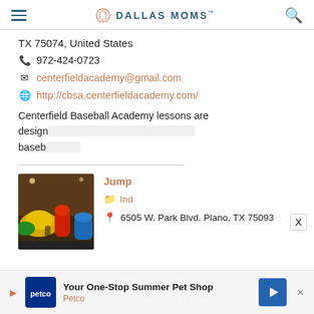DALLAS MOMS
TX 75074, United States
972-424-0723
centerfieldacademy@gmail.com
http://cbsa.centerfieldacademy.com/
Centerfield Baseball Academy lessons are designed to teach baseball
Jump
Ind
6505 W. Park Blvd. Plano, TX 75093
[Figure (photo): Indoor bounce house/inflatable play area with colorful inflatables]
Your One-Stop Summer Pet Shop Petco